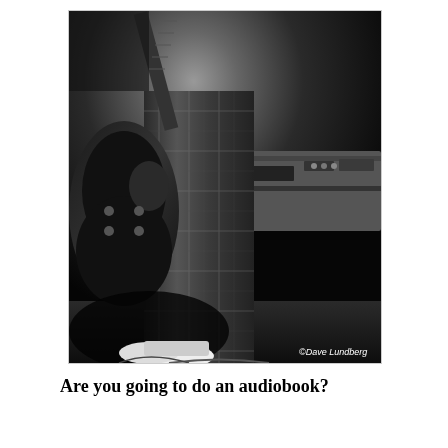[Figure (photo): Black and white photograph of a guitarist performing. The image shows a person wearing plaid pants holding an electric guitar (appears to be a Les Paul or similar). Recording or music equipment is visible in the background. Photo credit: ©Dave Lundberg]
Are you going to do an audiobook?